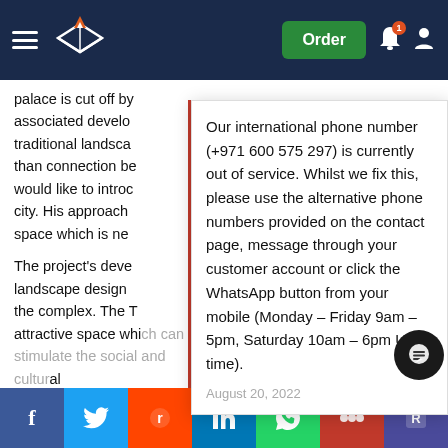Navigation header with hamburger menu, logo, Order button, bell notification icon, user icon
palace is cut off by associated development of traditional landscape than connection be would like to introdu city. His approach space which is ne
The project's deve landscape design the complex. The T attractive space which can stimulate the social and cultural interaction, thus the life of the place will be activated. This project is an architectural expression in landscape wh can provide an open and green space for events. The historical g e title of the b ur landscape and was re s e e ary
Our international phone number (+971 600 575 297) is currently out of service. Whilst we fix this, please use the alternative phone numbers provided on the contact page, message through your customer account or click the WhatsApp button from your mobile (Monday – Friday 9am – 5pm, Saturday 10am – 6pm UK time).
August 20, 2022
Social share bar: Facebook, Twitter, Reddit, LinkedIn, WhatsApp, Mix, ResearchGate